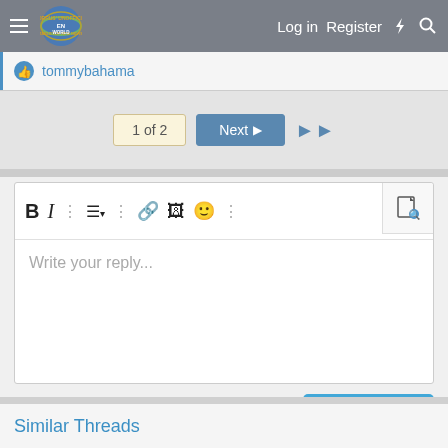Morrus' Unofficial Tabletop RPG News — Log in  Register
tommybahama
1 of 2  Next  ▶▶
[Figure (screenshot): Text editor toolbar with Bold, Italic, list, link, image, emoji, undo, and other formatting icons, plus a side document icon]
Write your reply...
Post reply
Similar Threads